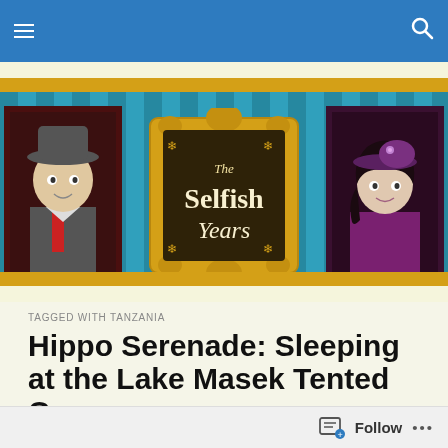Navigation bar with hamburger menu and search icon
[Figure (illustration): The Selfish Years blog banner with illustrated cartoon portraits in frames on a teal striped background with gold borders, and central ornate gold frame containing 'The Selfish Years' logo text]
TAGGED WITH TANZANIA
Hippo Serenade: Sleeping at the Lake Masek Tented Camp
This is the last of twelve posts on our safari in
Follow •••